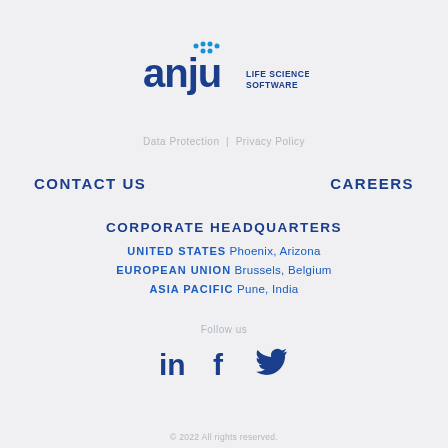[Figure (logo): Anju Life Sciences Software logo — blue wordmark with stylized dots above 'anju' and text 'LIFE SCIENCES SOFTWARE' to the right]
Data Protection | Privacy Policy
CONTACT US
CAREERS
CORPORATE HEADQUARTERS
UNITED STATES Phoenix, Arizona
EUROPEAN UNION Brussels, Belgium
ASIA PACIFIC Pune, India
Follow us
[Figure (illustration): LinkedIn, Facebook, and Twitter social media icons in dark blue]
© 2022 All rights reserved.